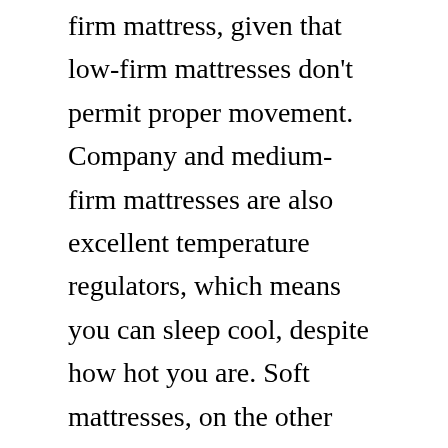firm mattress, given that low-firm mattresses don't permit proper movement. Company and medium-firm mattresses are also excellent temperature regulators, which means you can sleep cool, despite how hot you are. Soft mattresses, on the other hand, are not very good at this.
The firmness of a bed mattress is generally determined utilizing an ILD test. This test determines the pressure needed to sink a large disk into a mattress. The greater the ILD, the firmer the mattress is. A soft latex mattress, for instance, may have an ILD in